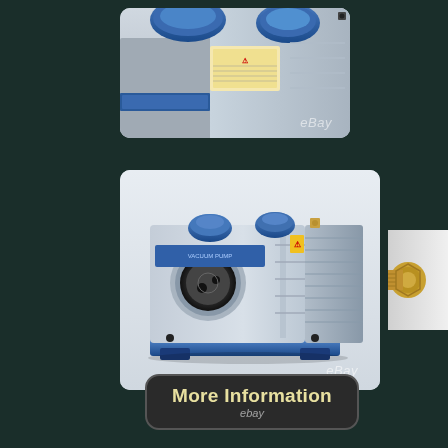[Figure (photo): Close-up photo of the top of a blue and grey vacuum pump, showing blue caps/ports and a warning sticker, with eBay watermark]
[Figure (photo): Front/side view of a blue and grey two-stage vacuum pump showing the circular intake port, cooling fins, motor housing, blue caps on top, and blue base feet, with eBay watermark]
[Figure (photo): Partial side view of a brass/copper fitting component of the vacuum pump, cropped at right edge]
More Information
ebay